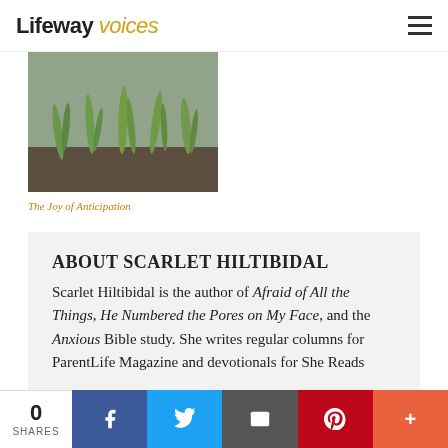Lifeway voices
[Figure (photo): Close-up photo of green plant shoots emerging from dark soil, blurred background]
The Joy of Anticipation
ABOUT SCARLET HILTIBIDAL
Scarlet Hiltibidal is the author of Afraid of All the Things, He Numbered the Pores on My Face, and the Anxious Bible study. She writes regular columns for ParentLife Magazine and devotionals for She Reads
0 SHARES | Facebook | Twitter | Email | Pinterest | More